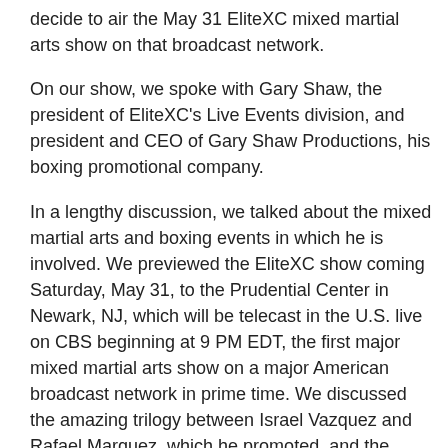decide to air the May 31 EliteXC mixed martial arts show on that broadcast network.
On our show, we spoke with Gary Shaw, the president of EliteXC's Live Events division, and president and CEO of Gary Shaw Productions, his boxing promotional company.
In a lengthy discussion, we talked about the mixed martial arts and boxing events in which he is involved. We previewed the EliteXC show coming Saturday, May 31, to the Prudential Center in Newark, NJ, which will be telecast in the U.S. live on CBS beginning at 9 PM EDT, the first major mixed martial arts show on a major American broadcast network in prime time. We discussed the amazing trilogy between Israel Vazquez and Rafael Marquez, which he promoted, and the possibility of a fourth fight; the Kimbo Slice phenomenon and why he is in the EliteXC May 31 main event; the rest of the May 31 card including EliteXC middleweight champion Robbie Lawler vs. Scott Smith and the return of Gina Carano; the inclusion on the May 31 undercard of Carlton Haselrig, the only six-time NCAA college wrestling champion and a star lineman with the